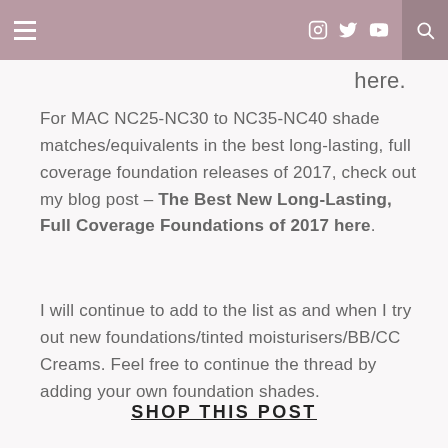≡   [instagram] [twitter] [youtube]  [search]
here.
For MAC NC25-NC30 to NC35-NC40 shade matches/equivalents in the best long-lasting, full coverage foundation releases of 2017, check out my blog post – The Best New Long-Lasting, Full Coverage Foundations of 2017 here.
I will continue to add to the list as and when I try out new foundations/tinted moisturisers/BB/CC Creams. Feel free to continue the thread by adding your own foundation shades.
SHOP THIS POST